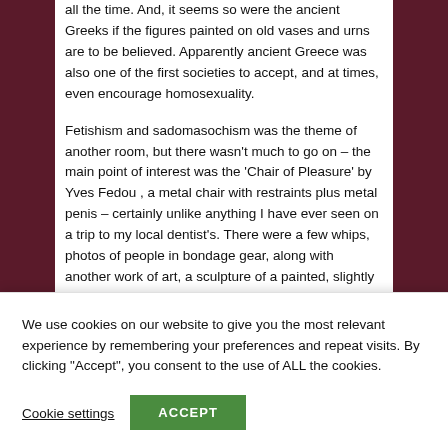all the time. And, it seems so were the ancient Greeks if the figures painted on old vases and urns are to be believed. Apparently ancient Greece was also one of the first societies to accept, and at times, even encourage homosexuality.
Fetishism and sadomasochism was the theme of another room, but there wasn't much to go on – the main point of interest was the 'Chair of Pleasure' by Yves Fedou , a metal chair with restraints plus metal penis – certainly unlike anything I have ever seen on a trip to my local dentist's. There were a few whips, photos of people in bondage gear, along with another work of art, a sculpture of a painted, slightly scary woman.
We use cookies on our website to give you the most relevant experience by remembering your preferences and repeat visits. By clicking "Accept", you consent to the use of ALL the cookies.
Cookie settings
ACCEPT